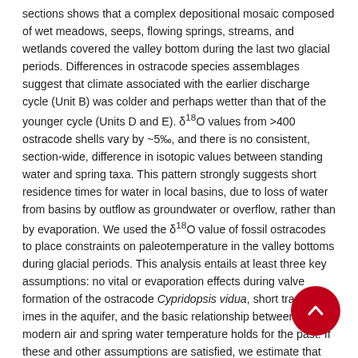sections shows that a complex depositional mosaic composed of wet meadows, seeps, flowing springs, streams, and wetlands covered the valley bottom during the last two glacial periods. Differences in ostracode species assemblages suggest that climate associated with the earlier discharge cycle (Unit B) was colder and perhaps wetter than that of the younger cycle (Units D and E). δ¹⁸O values from >400 ostracode shells vary by ~5‰, and there is no consistent, section-wide, difference in isotopic values between standing water and spring taxa. This pattern strongly suggests short residence times for water in local basins, due to loss of water from basins by outflow as groundwater or overflow, rather than by evaporation. We used the δ¹⁸O value of fossil ostracodes to place constraints on paleotemperature in the valley bottoms during glacial periods. This analysis entails at least three key assumptions: no vital or evaporation effects during valve formation of the ostracode Cypridopsis vidua, short transit imes in the aquifer, and the basic relationship between modern air and spring water temperature holds for the past. If these and other assumptions are satisfied, we estimate that mean annual air temperature during the penultimate wet period (Unit B2) in the valley bottom was at least 10.8 °C colder than today, and at least 5.6 °C colder during the last glacial maximum (Unit D). If a vital effect of 0.8-1‰ is